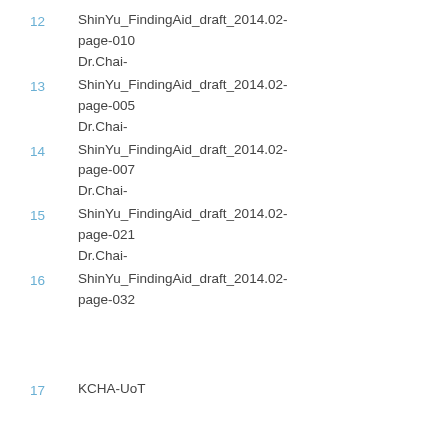12	ShinYu_FindingAid_draft_2014.02-page-010
Dr.Chai-
13	ShinYu_FindingAid_draft_2014.02-page-005
Dr.Chai-
14	ShinYu_FindingAid_draft_2014.02-page-007
Dr.Chai-
15	ShinYu_FindingAid_draft_2014.02-page-021
Dr.Chai-
16	ShinYu_FindingAid_draft_2014.02-page-032
17	KCHA-UoT